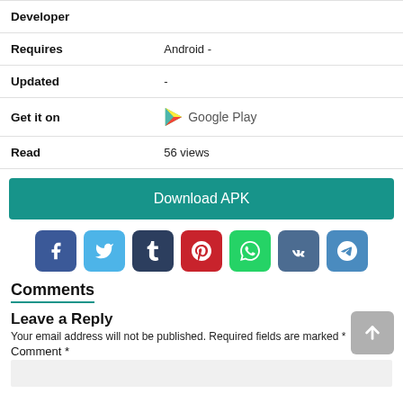| Developer |  |
| Requires | Android - |
| Updated | - |
| Get it on | Google Play |
| Read | 56 views |
Download APK
[Figure (other): Social media share buttons: Facebook, Twitter, Tumblr, Pinterest, WhatsApp, VK, Telegram]
Comments
Leave a Reply
Your email address will not be published. Required fields are marked *
Comment *